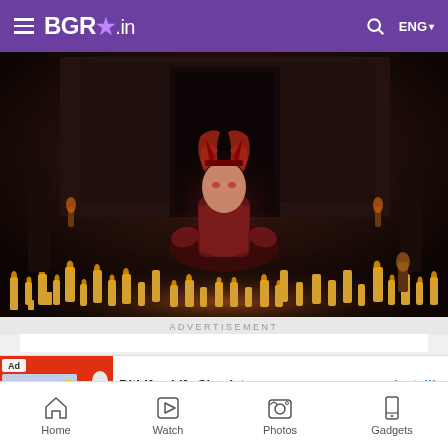BGR.in — navigation bar with hamburger menu, search icon, ENG language selector
[Figure (photo): A female superhero character (Scarlet Witch/Wanda Maximoff) in a red costume with horned headpiece, sitting cross-legged in a meditation pose surrounded by lit candles arranged in a circle on a stone floor, in a dark mystical setting]
ADVERTISEMENT
[Figure (screenshot): BitLife - Life Simulator app install advertisement with colorful game thumbnail on the left showing a bank robbery screen with a yellow emoji character, red background, and BitLife logo. Right side shows app name 'BitLife - Life Simulator' and an 'Install!' button in blue.]
Home | Watch | Photos | Gadgets — bottom navigation bar